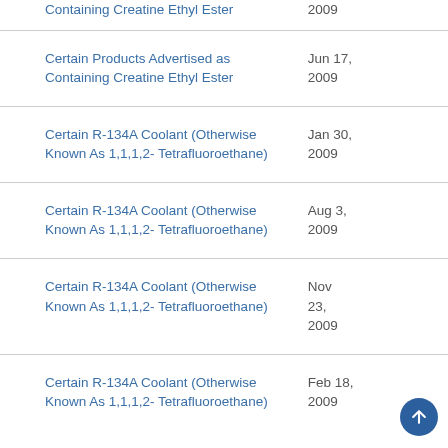| Title | Date |
| --- | --- |
| Certain Products Advertised as Containing Creatine Ethyl Ester | 2009 |
| Certain Products Advertised as Containing Creatine Ethyl Ester | Jun 17, 2009 |
| Certain R-134A Coolant (Otherwise Known As 1,1,1,2- Tetrafluoroethane) | Jan 30, 2009 |
| Certain R-134A Coolant (Otherwise Known As 1,1,1,2- Tetrafluoroethane) | Aug 3, 2009 |
| Certain R-134A Coolant (Otherwise Known As 1,1,1,2- Tetrafluoroethane) | Nov 23, 2009 |
| Certain R-134A Coolant (Otherwise Known As 1,1,1,2- Tetrafluoroethane) | Feb 18, 2009 |